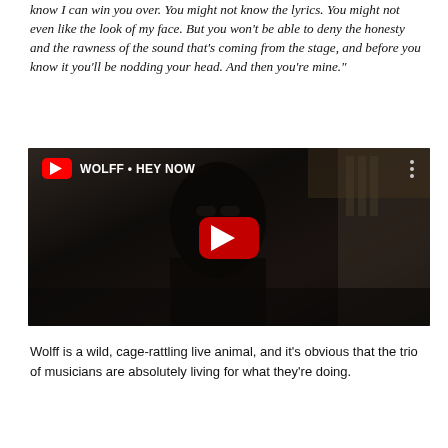know I can win you over. You might not know the lyrics. You might not even like the look of my face. But you won't be able to deny the honesty and the rawness of the sound that's coming from the stage, and before you know it you'll be nodding your head. And then you're mine."
[Figure (screenshot): YouTube video thumbnail for 'WOLFF • HEY NOW' showing a man wearing sunglasses on a street, with a red YouTube play button in the center]
Wolff is a wild, cage-rattling live animal, and it's obvious that the trio of musicians are absolutely living for what they're doing.